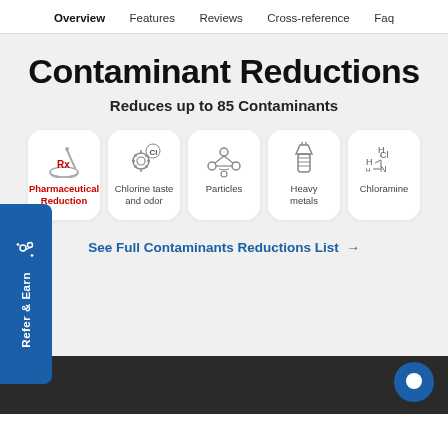Overview  Features  Reviews  Cross-reference  Faq
Contaminant Reductions
Reduces up to 85 Contaminants
[Figure (infographic): Five icon cards: Pharmaceutical Reduction (mortar and pestle with Rx), Chlorine taste and odor (gear with Cl), Particles (molecule diagram), Heavy metals (bolt/screw), Chloramine (chemical diagram H2N-Cl)]
See Full Contaminants Reductions List →
[Figure (other): Refer & Earn vertical tab on left side]